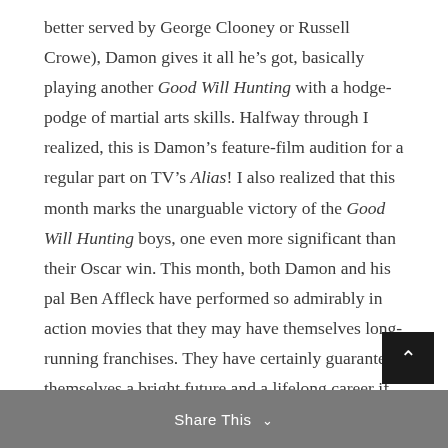better served by George Clooney or Russell Crowe), Damon gives it all he's got, basically playing another Good Will Hunting with a hodge-podge of martial arts skills. Halfway through I realized, this is Damon's feature-film audition for a regular part on TV's Alias! I also realized that this month marks the unarguable victory of the Good Will Hunting boys, one even more significant than their Oscar win. This month, both Damon and his pal Ben Affleck have performed so admirably in action movies that they may have themselves long-running franchises. They have certainly guaranteed themselves a bright future and a lifelong career if they can keep their dignity.
Share This ∨